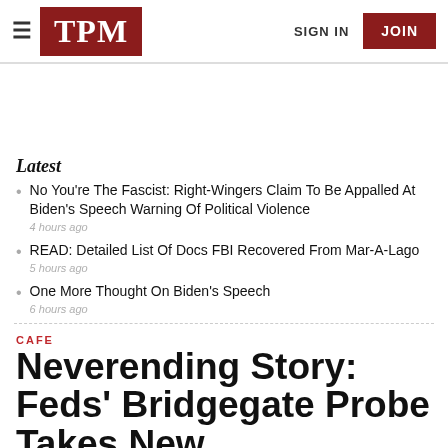TPM | SIGN IN | JOIN
Latest
No You're The Fascist: Right-Wingers Claim To Be Appalled At Biden's Speech Warning Of Political Violence
4 hours ago
READ: Detailed List Of Docs FBI Recovered From Mar-A-Lago
5 hours ago
One More Thought On Biden's Speech
6 hours ago
CAFE
Neverending Story: Feds' Bridgegate Probe Takes New